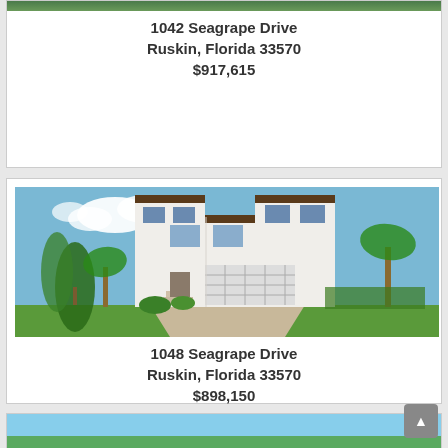[Figure (photo): Partial top of a house listing card showing green roof/vegetation strip]
1042 Seagrape Drive
Ruskin, Florida 33570
$917,615
[Figure (photo): Two-story white modern house with palm trees, large garage, and paved driveway in Ruskin Florida]
1048 Seagrape Drive
Ruskin, Florida 33570
$898,150
[Figure (photo): Partial bottom of another house listing card showing sky and green lawn]